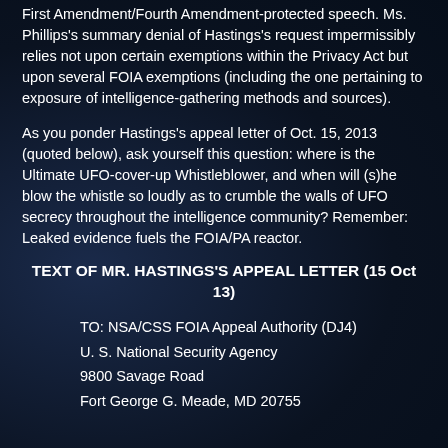First Amendment/Fourth Amendment-protected speech. Ms. Phillips's summary denial of Hastings's request impermissibly relies not upon certain exemptions within the Privacy Act but upon several FOIA exemptions (including the one pertaining to exposure of intelligence-gathering methods and sources).
As you ponder Hastings's appeal letter of Oct. 15, 2013 (quoted below), ask yourself this question: where is the Ultimate UFO-cover-up Whistleblower, and when will (s)he blow the whistle so loudly as to crumble the walls of UFO secrecy throughout the intelligence community? Remember: Leaked evidence fuels the FOIA/PA reactor.
TEXT OF MR. HASTINGS'S APPEAL LETTER (15 Oct 13)
TO: NSA/CSS FOIA Appeal Authority (DJ4)
U. S. National Security Agency
9800 Savage Road
Fort George G. Meade, MD 20755